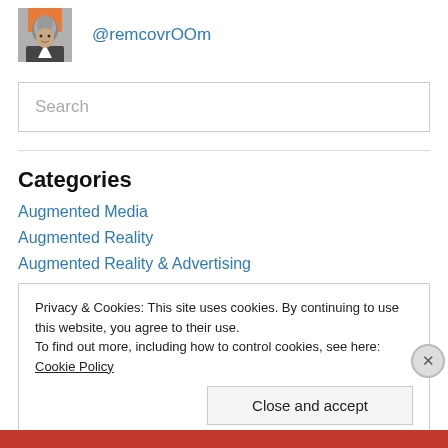[Figure (photo): Profile photo of a man, black and white, small square thumbnail]
@remcovrOOm
Search
Categories
Augmented Media
Augmented Reality
Augmented Reality & Advertising
Privacy & Cookies: This site uses cookies. By continuing to use this website, you agree to their use.
To find out more, including how to control cookies, see here: Cookie Policy
Close and accept